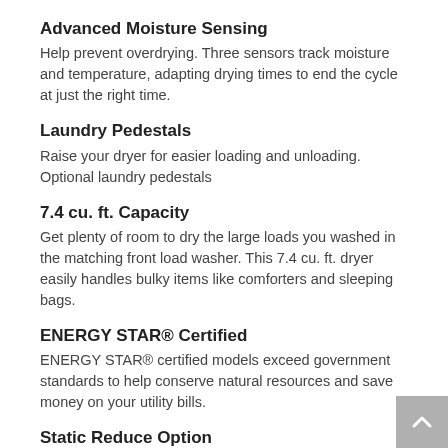Advanced Moisture Sensing
Help prevent overdrying. Three sensors track moisture and temperature, adapting drying times to end the cycle at just the right time.
Laundry Pedestals
Raise your dryer for easier loading and unloading. Optional laundry pedestals
7.4 cu. ft. Capacity
Get plenty of room to dry the large loads you washed in the matching front load washer. This 7.4 cu. ft. dryer easily handles bulky items like comforters and sleeping bags.
ENERGY STAR® Certified
ENERGY STAR® certified models exceed government standards to help conserve natural resources and save money on your utility bills.
Static Reduce Option
Help decrease static with the Static Reduce Option, which combines a mist of water with tumbling after the load is done.